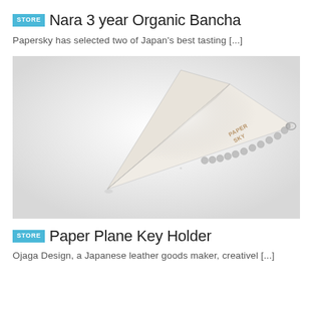STORE  Nara 3 year Organic Bancha
Papersky has selected two of Japan's best tasting [...]
[Figure (photo): A white paper plane shaped leather keychain with a silver ball chain attached, branded with 'PAPER SKY' text, photographed on a light background.]
STORE  Paper Plane Key Holder
Ojaga Design, a Japanese leather goods maker, creativel [...]